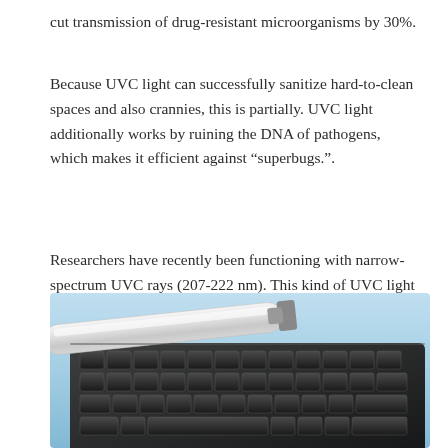cut transmission of drug-resistant microorganisms by 30%.
Because UVC light can successfully sanitize hard-to-clean spaces and also crannies, this is partially. UVC light additionally works by ruining the DNA of pathogens, which makes it efficient against “superbugs.”.
Researchers have recently been functioning with narrow-spectrum UVC rays (207-222 nm). This kind of UVC light eliminates microorganisms and infections without penetrating the outer cell layer of human skin.
[Figure (photo): A white UV-C light wand/tube resting on top of a black keyboard, on a blue surface background. The photo shows a UVC sanitizing device being used on a computer keyboard.]